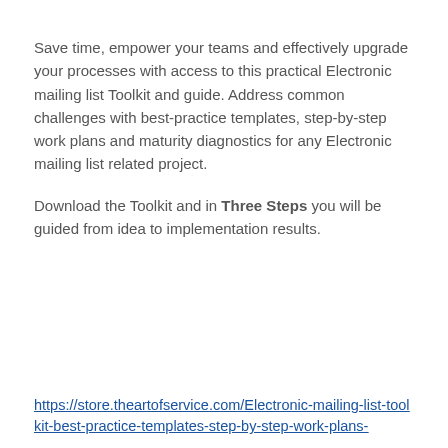Save time, empower your teams and effectively upgrade your processes with access to this practical Electronic mailing list Toolkit and guide. Address common challenges with best-practice templates, step-by-step work plans and maturity diagnostics for any Electronic mailing list related project.
Download the Toolkit and in Three Steps you will be guided from idea to implementation results.
https://store.theartofservice.com/Electronic-mailing-list-toolkit-best-practice-templates-step-by-step-work-plans-and-maturity-diagnostics-for-any...